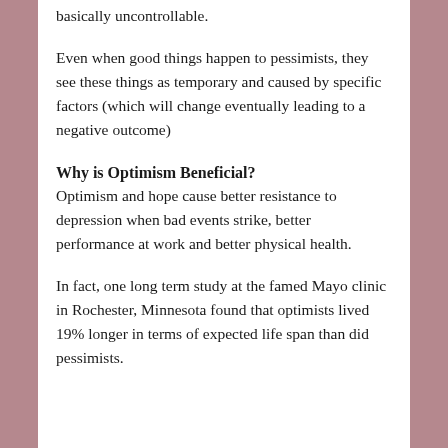basically uncontrollable.
Even when good things happen to pessimists, they see these things as temporary and caused by specific factors (which will change eventually leading to a negative outcome)
Why is Optimism Beneficial?
Optimism and hope cause better resistance to depression when bad events strike, better performance at work and better physical health.
In fact, one long term study at the famed Mayo clinic in Rochester, Minnesota found that optimists lived 19% longer in terms of expected life span than did pessimists.